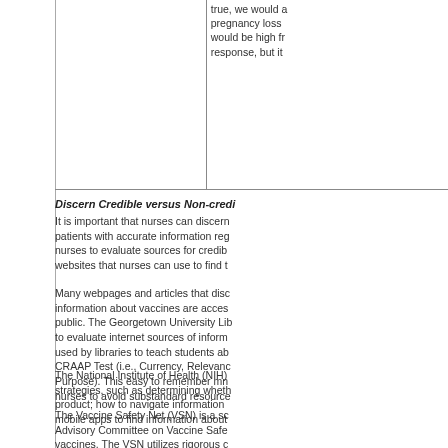|  |  |
| --- | --- |
|  | true, we would a pregnancy loss would be high fr response, but it |
Discern Credible versus Non-credi...
It is important that nurses can discern patients with accurate information reg nurses to evaluate sources for credib websites that nurses can use to find t
Many webpages and articles that disc information about vaccines are acces public. The Georgetown University Lib to evaluate internet sources of inform used by libraries to teach students ab CRAAP Test (i.e., Currency, Relevanc Purpose). This easy to remember mn nurses to avoid substandard resource
The National Institute of Health (NIH) strategies, such as determining wheth product; how to navigate information mobile apps to find information about
The Vaccine Safety Net (VSN) is a sc Advisory Committee on Vaccine Safe vaccines. The VSN utilizes rigorous c